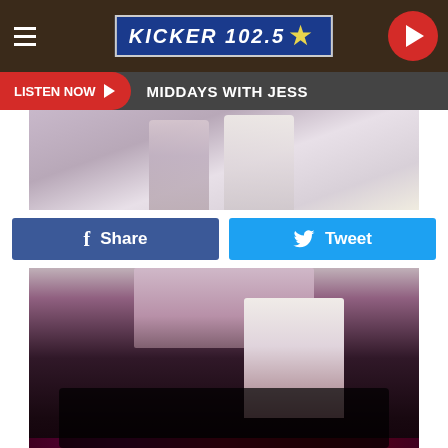KICKER 102.5
LISTEN NOW ▶  MIDDAYS WITH JESS
[Figure (photo): Partial view of performers in white outfits on stage, top portion cropped]
Share  Tweet
[Figure (photo): Concert performance photo at 2019 MusiCares Person of the Year Gala Honoring Dolly Parton - dark stage scene with performers]
Getty Images
2019 MusiCares Person of the Year Gala Honoring Dolly Parton
Katy Perry and Kacey Musgraves perform at the 2019 MusiCares Person of the Year gala.